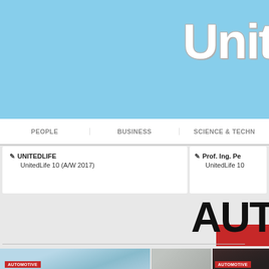Unit
PEOPLE | BUSINESS | SCIENCE & TECHN...
UNITEDLIFE
UnitedLife 10 (A/W 2017)
Prof. Ing. Pe...
UnitedLife 10...
AUT
[Figure (photo): Car photo with AUTOMOTIVE badge]
[Figure (photo): Building/wall photo]
[Figure (photo): Woman in car with AUTOMOTIVE badge]